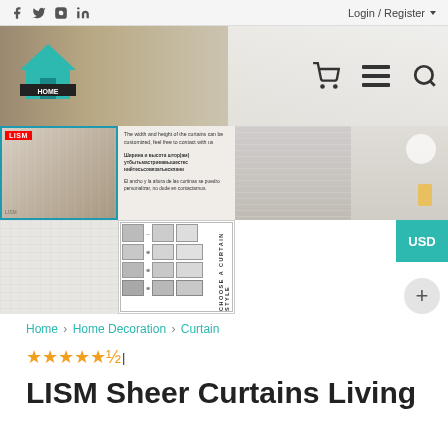Login / Register
[Figure (screenshot): E-commerce website navigation bar with home logo, cart icon, menu icon, and search icon over a curtain background image]
[Figure (photo): LISM branded close-up photo of white sheer curtain fabric]
[Figure (photo): Product detail image showing customization text in English, Russian, and Spanish about curtain width and height customization]
[Figure (photo): White sheer curtain in a room setting]
[Figure (photo): White sheer curtain with lamp]
[Figure (photo): White curtain texture close-up]
[Figure (infographic): Choose A Curtain Style diagram showing different curtain hanging style options]
Home > Home Decoration > Curtain
★★★★★|
LISM Sheer Curtains Living